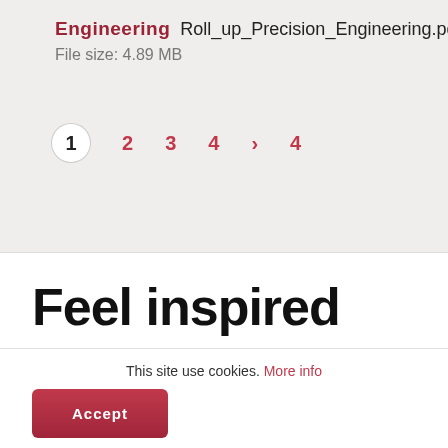Engineering   Roll_up_Precision_Engineering.pdf
File size: 4.89 MB
1  2  3  4  >  4
Feel inspired
This site use cookies. More info
Accept